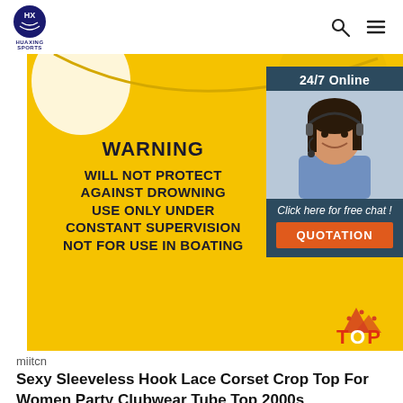HUAXING SPORTS
[Figure (screenshot): Yellow garment with WARNING text: WILL NOT PROTECT AGAINST DROWNING USE ONLY UNDER CONSTANT SUPERVISION NOT FOR USE IN BOATING. Overlaid ad box: 24/7 Online, photo of woman with headset, Click here for free chat!, QUOTATION button. TOP badge at bottom right.]
miitcn
Sexy Sleeveless Hook Lace Corset Crop Top For Women Party Clubwear Tube Top 2000s